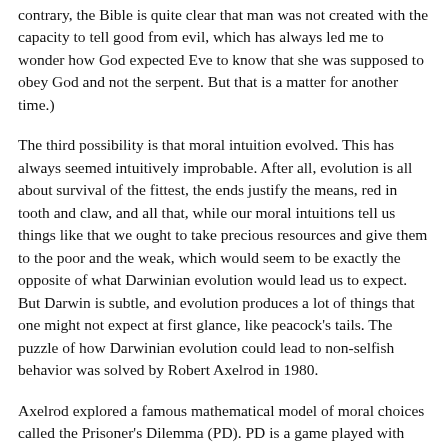contrary, the Bible is quite clear that man was not created with the capacity to tell good from evil, which has always led me to wonder how God expected Eve to know that she was supposed to obey God and not the serpent. But that is a matter for another time.)
The third possibility is that moral intuition evolved. This has always seemed intuitively improbable. After all, evolution is all about survival of the fittest, the ends justify the means, red in tooth and claw, and all that, while our moral intuitions tell us things like that we ought to take precious resources and give them to the poor and the weak, which would seem to be exactly the opposite of what Darwinian evolution would lead us to expect. But Darwin is subtle, and evolution produces a lot of things that one might not expect at first glance, like peacock's tails. The puzzle of how Darwinian evolution could lead to non-selfish behavior was solved by Robert Axelrod in 1980.
Axelrod explored a famous mathematical model of moral choices called the Prisoner's Dilemma (PD). PD is a game played with two players. Each player has only two possible moves: cooperate (C) or defect (D). Points are awarded